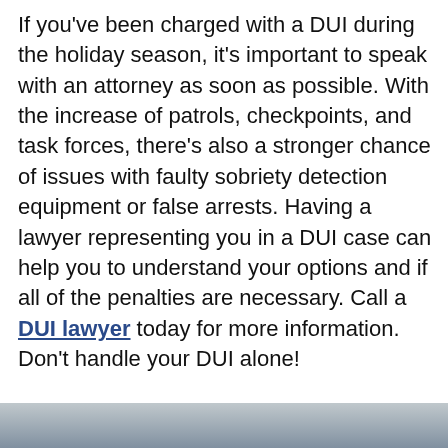If you've been charged with a DUI during the holiday season, it's important to speak with an attorney as soon as possible. With the increase of patrols, checkpoints, and task forces, there's also a stronger chance of issues with faulty sobriety detection equipment or false arrests. Having a lawyer representing you in a DUI case can help you to understand your options and if all of the penalties are necessary. Call a DUI lawyer today for more information. Don't handle your DUI alone!
[Figure (photo): A blurred/muted photograph visible at the bottom of the page, grayish-blue tones]